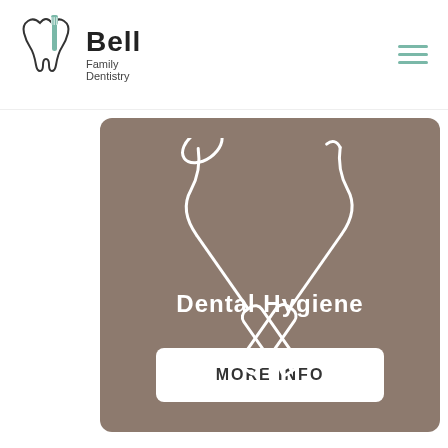Bell Family Dentistry
[Figure (illustration): Bell Family Dentistry logo with tooth icon and teal toothbrush, hamburger menu icon in teal on right]
[Figure (illustration): White outline icon of crossed dental scalers/instruments on brown/taupe background card]
Dental Hygiene
MORE INFO